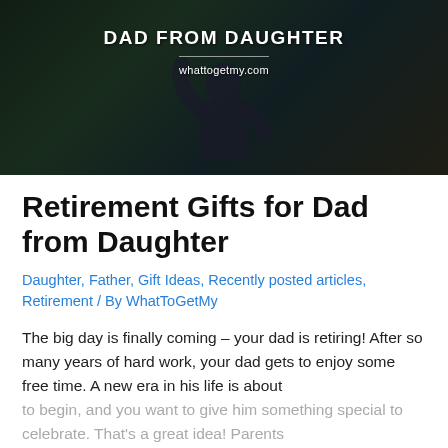[Figure (photo): Hero image of a man (seen from behind, wearing dark shirt) with overlaid text 'DAD FROM DAUGHTER', a horizontal divider line, and 'whattogetmy.com'. Dark outdoor background with greenery.]
Retirement Gifts for Dad from Daughter
Daughter, Father, Gift Ideas, Recently posted articles, Retirement / By WhatToGetMy
The big day is finally coming – your dad is retiring! After so many years of hard work, your dad gets to enjoy some free time. A new era in his life is about to begin, and you want to give him something special to celebrate. That's a great idea! Parents